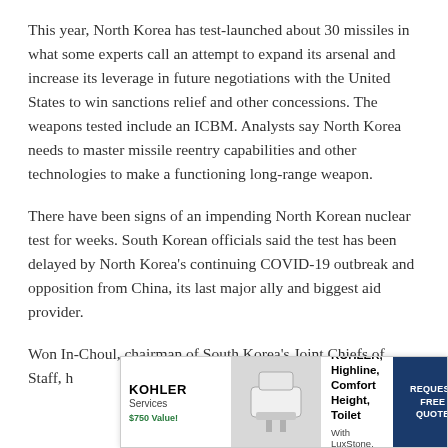This year, North Korea has test-launched about 30 missiles in what some experts call an attempt to expand its arsenal and increase its leverage in future negotiations with the United States to win sanctions relief and other concessions. The weapons tested include an ICBM. Analysts say North Korea needs to master missile reentry capabilities and other technologies to make a functioning long-range weapon.
There have been signs of an impending North Korean nuclear test for weeks. South Korean officials said the test has been delayed by North Korea's continuing COVID-19 outbreak and opposition from China, its last major ally and biggest aid provider.
Won In-Choul, chairman of South Korea's Joint Chiefs of Staff, h... Americ... North
[Figure (other): KOHLER Services advertisement overlay. FREE KOHLER, Highline, Comfort Height, Toilet. With LuxStone, Shower Installation. $750 Value. REQUEST FREE QUOTE.]